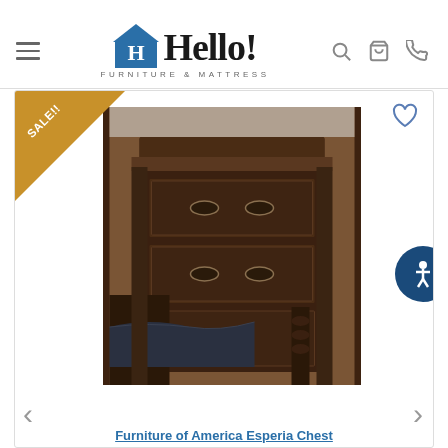Hello! Furniture & Mattress — navigation header with hamburger menu, logo, search, cart, and phone icons
[Figure (photo): Dark walnut chest of drawers / chest on chest furniture piece with ornate carved details, shown in a bedroom setting. A gold 'SALE!!' banner triangle is overlaid on the top-left corner of the product card.]
Furniture of America Esperia Chest